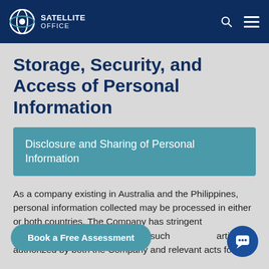SATELLITE OFFICE
Storage, Security, and Access of Personal Information
Disclosure and Sharing of Personal Information
As a company existing in Australia and the Philippines, personal information collected may be processed in either or both countries. The Company has stringent measures ... he access of such ... arties authorized by both the Company and relevant acts for the
Book a Free Assessment